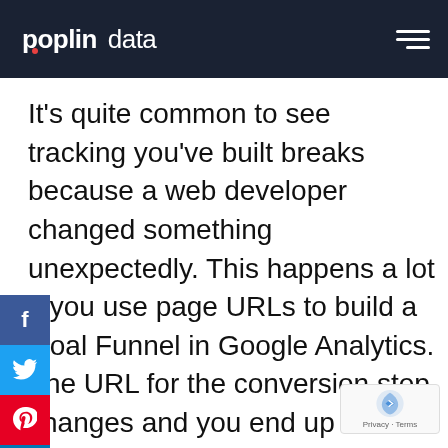poplin data
It's quite common to see tracking you've built breaks because a web developer changed something unexpectedly. This happens a lot if you use page URLs to build a Goal Funnel in Google Analytics. The URL for the conversion step changes and you end up with a gap in data. By modelling out your data you can seamlessly switch across from the old to the new definition and your analytics users need never know, simply seeing a